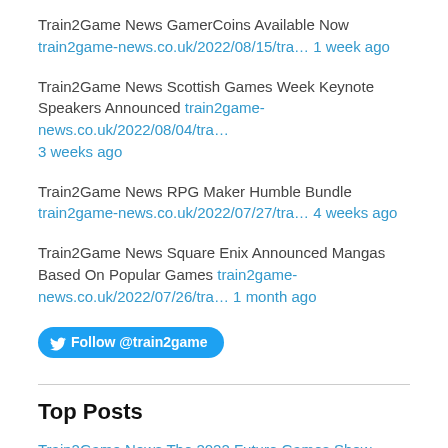Train2Game News GamerCoins Available Now train2game-news.co.uk/2022/08/15/tra… 1 week ago
Train2Game News Scottish Games Week Keynote Speakers Announced train2game-news.co.uk/2022/08/04/tra… 3 weeks ago
Train2Game News RPG Maker Humble Bundle train2game-news.co.uk/2022/07/27/tra… 4 weeks ago
Train2Game News Square Enix Announced Mangas Based On Popular Games train2game-news.co.uk/2022/07/26/tra… 1 month ago
Top Posts
Train2Game News The 2022 Future Games Show Recap
Train2Game news exclusive: Ubisoft senior figures offer advice on getting into the industry